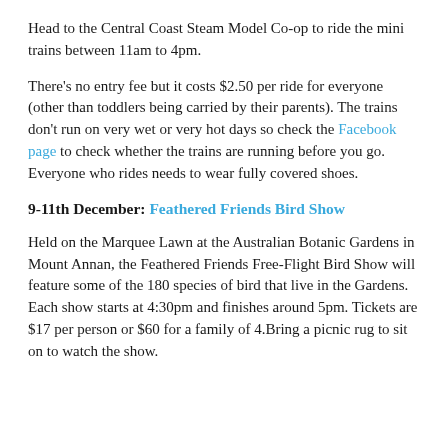Head to the Central Coast Steam Model Co-op to ride the mini trains between 11am to 4pm.
There's no entry fee but it costs $2.50 per ride for everyone (other than toddlers being carried by their parents). The trains don't run on very wet or very hot days so check the Facebook page to check whether the trains are running before you go. Everyone who rides needs to wear fully covered shoes.
9-11th December: Feathered Friends Bird Show
Held on the Marquee Lawn at the Australian Botanic Gardens in Mount Annan, the Feathered Friends Free-Flight Bird Show will feature some of the 180 species of bird that live in the Gardens. Each show starts at 4:30pm and finishes around 5pm. Tickets are $17 per person or $60 for a family of 4.Bring a picnic rug to sit on to watch the show.